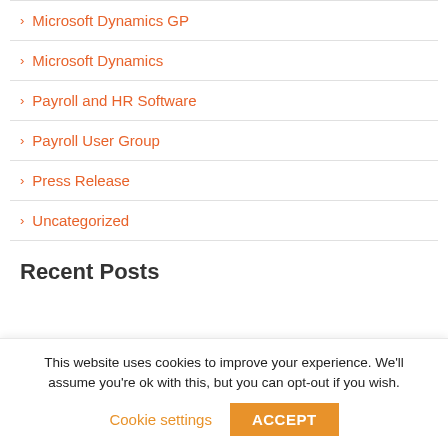Microsoft Dynamics GP
Microsoft Dynamics
Payroll and HR Software
Payroll User Group
Press Release
Uncategorized
Recent Posts
This website uses cookies to improve your experience. We'll assume you're ok with this, but you can opt-out if you wish.
Cookie settings
ACCEPT